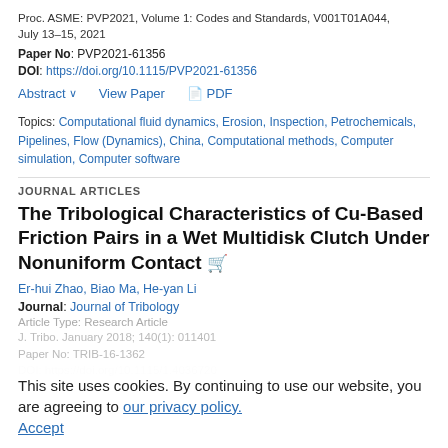Proc. ASME: PVP2021, Volume 1: Codes and Standards, V001T01A044, July 13–15, 2021
Paper No: PVP2021-61356
DOI: https://doi.org/10.1115/PVP2021-61356
Abstract ∨   View Paper   📄 PDF
Topics: Computational fluid dynamics, Erosion, Inspection, Petrochemicals, Pipelines, Flow (Dynamics), China, Computational methods, Computer simulation, Computer software
JOURNAL ARTICLES
The Tribological Characteristics of Cu-Based Friction Pairs in a Wet Multidisk Clutch Under Nonuniform Contact
Er-hui Zhao, Biao Ma, He-yan Li
Journal: Journal of Tribology
Article Type: Research Article
J. Tribo. January 2018; 140(1): 011401
Paper No: TRIB-16-1362
DOI: https://doi.org/10.1115/1.4036720
This site uses cookies. By continuing to use our website, you are agreeing to our privacy policy. Accept